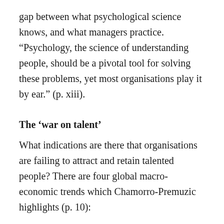gap between what psychological science knows, and what managers practice. “Psychology, the science of understanding people, should be a pivotal tool for solving these problems, yet most organisations play it by ear.” (p. xiii).
The ‘war on talent’
What indications are there that organisations are failing to attract and retain talented people? There are four global macro-economic trends which Chamorro-Premuzic highlights (p. 10):
The ‘disengagement epidemic’: that the